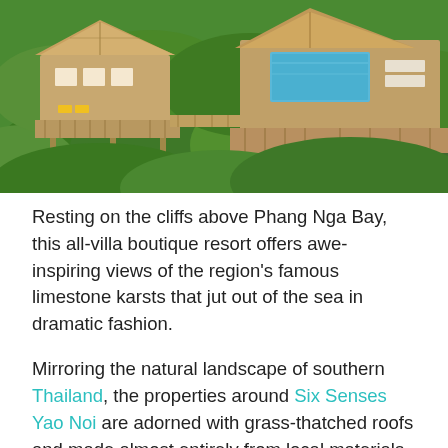[Figure (photo): Aerial view of Six Senses Yao Noi resort buildings with thatched roofs and wooden decks with a pool, surrounded by dense tropical green jungle on a hillside.]
Resting on the cliffs above Phang Nga Bay, this all-villa boutique resort offers awe-inspiring views of the region's famous limestone karsts that jut out of the sea in dramatic fashion.
Mirroring the natural landscape of southern Thailand, the properties around Six Senses Yao Noi  are adorned with grass-thatched roofs and made almost entirely from local materials, giving them a luxury treehouse feel while remaining committed to another of its all-giving